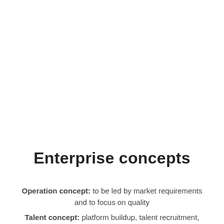Enterprise concepts
Operation concept: to be led by market requirements and to focus on quality
Talent concept: platform buildup, talent recruitment, and bold appointment